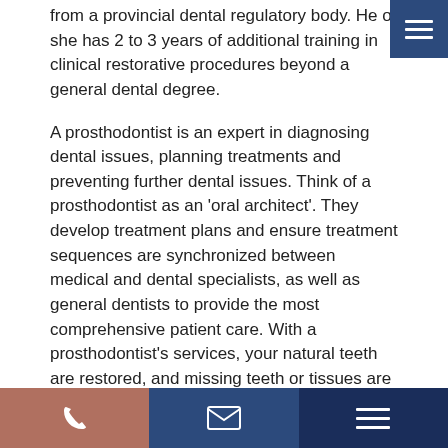from a provincial dental regulatory body. He or she has 2 to 3 years of additional training in clinical restorative procedures beyond a general dental degree.
A prosthodontist is an expert in diagnosing dental issues, planning treatments and preventing further dental issues. Think of a prosthodontist as an 'oral architect'. They develop treatment plans and ensure treatment sequences are synchronized between medical and dental specialists, as well as general dentists to provide the most comprehensive patient care. With a prosthodontist's services, your natural teeth are restored, and missing teeth or tissues are replaced with artificial substitutes.
While the dentists at Dr. James Gallant Dentistry can complete restorations, we would send specialized cases to a prosthodontist.
Which services does a prosthodontist offer?